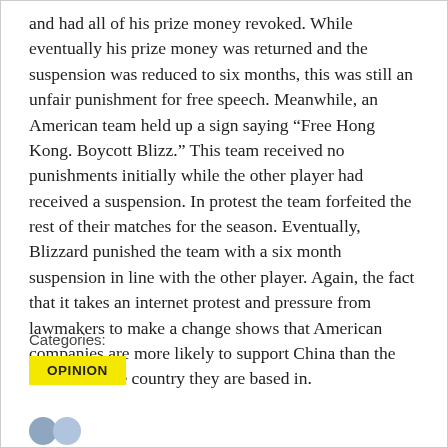and had all of his prize money revoked. While eventually his prize money was returned and the suspension was reduced to six months, this was still an unfair punishment for free speech. Meanwhile, an American team held up a sign saying “Free Hong Kong. Boycott Blizz.” This team received no punishments initially while the other player had received a suspension. In protest the team forfeited the rest of their matches for the season. Eventually, Blizzard punished the team with a six month suspension in line with the other player. Again, the fact that it takes an internet protest and pressure from lawmakers to make a change shows that American companies are more likely to support China than the citizens of the country they are based in.
Categories:
OPINION